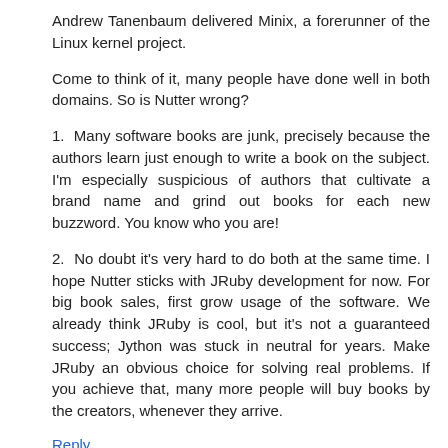Andrew Tanenbaum delivered Minix, a forerunner of the Linux kernel project.
Come to think of it, many people have done well in both domains. So is Nutter wrong?
1. Many software books are junk, precisely because the authors learn just enough to write a book on the subject. I'm especially suspicious of authors that cultivate a brand name and grind out books for each new buzzword. You know who you are!
2. No doubt it's very hard to do both at the same time. I hope Nutter sticks with JRuby development for now. For big book sales, first grow usage of the software. We already think JRuby is cool, but it's not a guaranteed success; Jython was stuck in neutral for years. Make JRuby an obvious choice for solving real problems. If you achieve that, many more people will buy books by the creators, whenever they arrive.
Reply